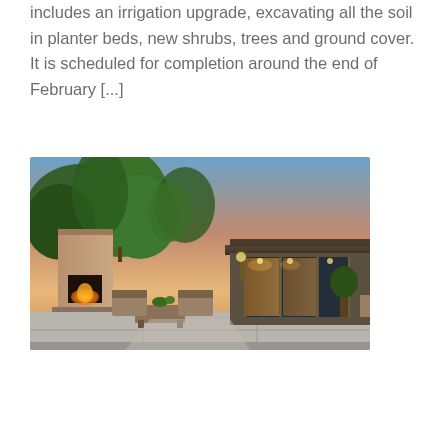includes an irrigation upgrade, excavating all the soil in planter beds, new shrubs, trees and ground cover.  It is scheduled for completion around the end of February [...]
Read more ›
[Figure (photo): Outdoor patio of a modern ranch-style home at dusk, featuring an outdoor fireplace with lit fire, wooden lounge furniture, concrete patio, glass sliding doors to interior with warm lighting, and lush green trees in background with colorful sunset sky.]